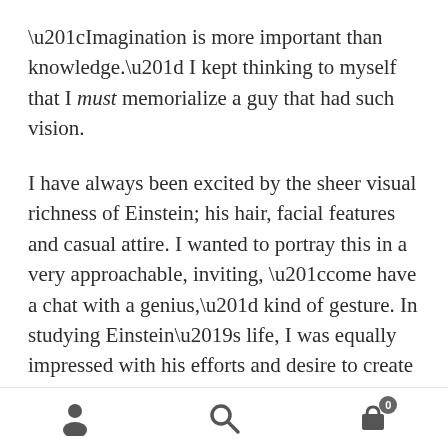“Imagination is more important than knowledge.” I kept thinking to myself that I must memorialize a guy that had such vision.
I have always been excited by the sheer visual richness of Einstein; his hair, facial features and casual attire. I wanted to portray this in a very approachable, inviting, “come have a chat with a genius,” kind of gesture. In studying Einstein’s life, I was equally impressed with his efforts and desire to create a world of peace and understanding in spite of the horrendous happenings of his era.
As he sits relaxed in the park, who knows what is
[navigation icons: person, search, cart with badge 0]